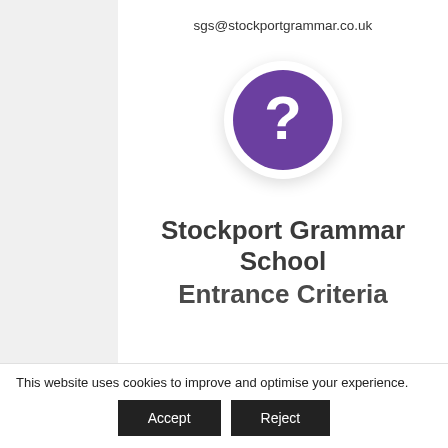sgs@stockportgrammar.co.uk
[Figure (illustration): Purple circle with white question mark icon on white background with shadow]
Stockport Grammar School Entrance Criteria
This website uses cookies to improve and optimise your experience.
Accept   Reject